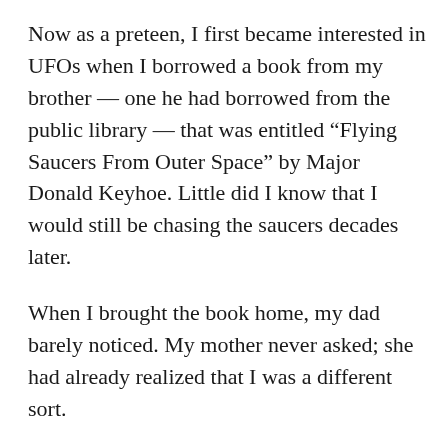Now as a preteen, I first became interested in UFOs when I borrowed a book from my brother — one he had borrowed from the public library — that was entitled “Flying Saucers From Outer Space” by Major Donald Keyhoe. Little did I know that I would still be chasing the saucers decades later.
When I brought the book home, my dad barely noticed. My mother never asked; she had already realized that I was a different sort.
I had the benefit of not being terribly social. My few friends, oddly enough, were also interested in the subject. So Marty would talk about a book he bought for one dollar at the closeout racks of a bookstore, “The Expanding Case for the UFO” by M.K. Jessup. It was the lesser-known follow up to the infamous “Case for